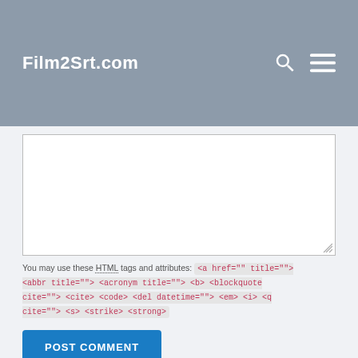Film2Srt.com
[Figure (screenshot): Empty white textarea input box for comment entry]
You may use these HTML tags and attributes: <a href="" title=""> <abbr title=""> <acronym title=""> <b> <blockquote cite=""> <cite> <code> <del datetime=""> <em> <i> <q cite=""> <s> <strike> <strong>
POST COMMENT